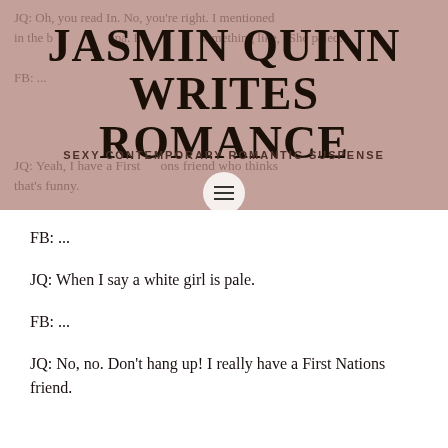JASMIN QUINN WRITES ROMANCE
SEXY CONTEMPORARY ROMANTIC SUSPENSE
JQ: Oh, you read In. No, you're right. I mentioned in the b... ...pa. E... ...something like, 'She paled.'
FB: ...
JQ: Yeah, I have a First Nations friend who thinks that's funny.
FB: ...
JQ: When I say a white girl is pale.
FB: ...
JQ: No, no. Don't hang up! I really have a First Nations friend.